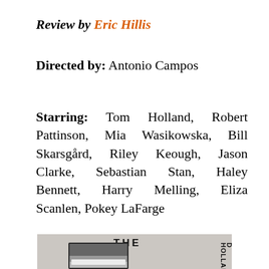Review by Eric Hillis
Directed by: Antonio Campos
Starring: Tom Holland, Robert Pattinson, Mia Wasikowska, Bill Skarsgård, Riley Keough, Jason Clarke, Sebastian Stan, Haley Bennett, Harry Melling, Eliza Scanlen, Pokey LaFarge
[Figure (photo): Movie poster for a film showing the word THE at top center, a face with a bar obscuring the lower half, and vertical text on the right reading HOLLAND]